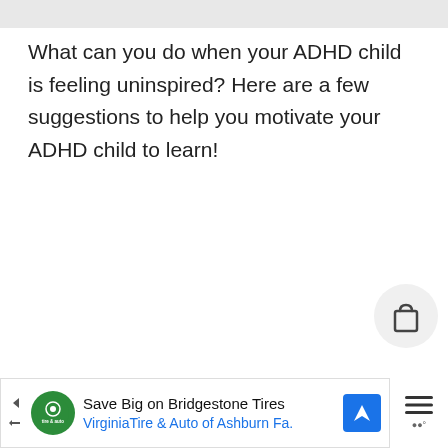What can you do when your ADHD child is feeling uninspired? Here are a few suggestions to help you motivate your ADHD child to learn!
[Figure (illustration): Decorative title graphic reading 'How to Motivate Your Uninspired ADHD Child to Learn' in bold handwritten-style font, with a partial photo of a child's head at the bottom]
[Figure (infographic): Advertisement banner: 'Save Big on Bridgestone Tires – VirginiaTire & Auto of Ashburn Fa.' with logo and blue navigation arrow icon]